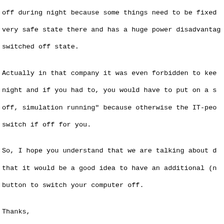off during night because some things need to be fixed, very safe state there and has a huge power disadvantage, switched off state.
Actually in that company it was even forbidden to keep night and if you had to, you would have to put on a s: off, simulation running" because otherwise the IT-people switch if off for you.
So, I hope you understand that we are talking about d: that it would be a good idea to have an additional (n: button to switch your computer off.
Thanks,
Johannes
References:
The logic behind remove "Restart" and hide "P..."
From: Gendre Sebastien